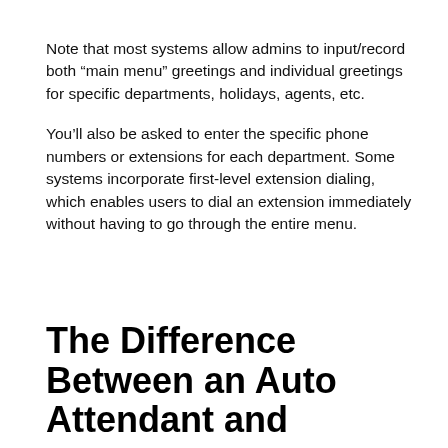Note that most systems allow admins to input/record both “main menu” greetings and individual greetings for specific departments, holidays, agents, etc.
You’ll also be asked to enter the specific phone numbers or extensions for each department. Some systems incorporate first-level extension dialing, which enables users to dial an extension immediately without having to go through the entire menu.
The Difference Between an Auto Attendant and